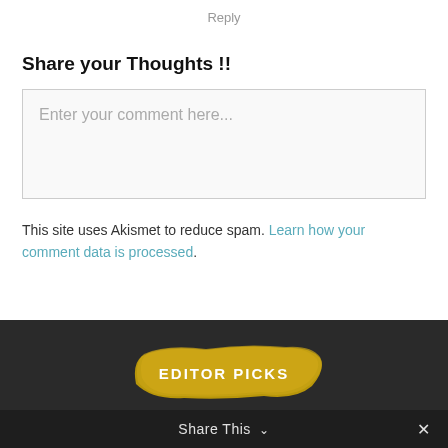Reply
Share your Thoughts !!
Enter your comment here...
This site uses Akismet to reduce spam. Learn how your comment data is processed.
[Figure (illustration): Golden/yellow paint brush stroke background with 'EDITOR PICKS' text overlay in white capital letters]
Share This ∨